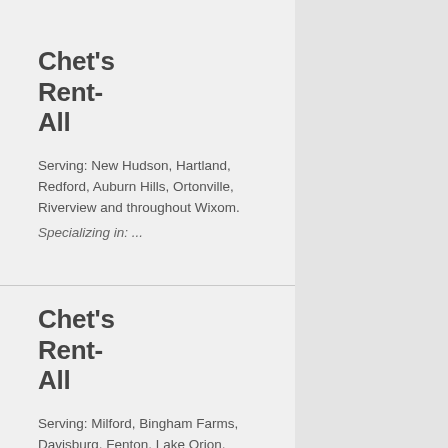Chet's Rent-All
Serving: New Hudson, Hartland, Redford, Auburn Hills, Ortonville, Riverview and throughout Wixom.
Specializing in: ...
Chet's Rent-All
Serving: Milford, Bingham Farms, Davisburg, Fenton, Lake Orion, Allen Park and throughout Wixom.
Specializing in: ...